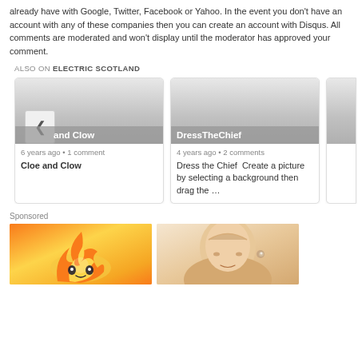This comment system requires you to be logged in through either a Disqus account or an account you already have with Google, Twitter, Facebook or Yahoo. In the event you don't have an account with any of these companies then you can create an account with Disqus. All comments are moderated and won't display until the moderator has approved your comment.
ALSO ON ELECTRIC SCOTLAND
[Figure (screenshot): Card: Cloe and Clow, 6 years ago, 1 comment]
[Figure (screenshot): Card: DressTheChief, 4 years ago, 2 comments, Dress the Chief Create a picture by selecting a background then drag the ...]
[Figure (screenshot): Partial card cropped at right edge]
Sponsored
[Figure (illustration): Sponsored image left: cartoon flame/fire character with orange and yellow colors]
[Figure (photo): Sponsored image right: woman wearing small earring, close-up photo]